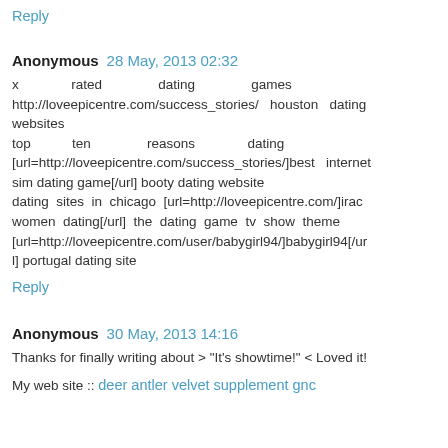Reply
Anonymous 28 May, 2013 02:32
x rated dating games http://loveepicentre.com/success_stories/ houston dating websites top ten reasons dating [url=http://loveepicentre.com/success_stories/]best internet sim dating game[/url] booty dating website dating sites in chicago [url=http://loveepicentre.com/]irac women dating[/url] the dating game tv show theme [url=http://loveepicentre.com/user/babygirl94/]babygirl94[/url] portugal dating site
Reply
Anonymous 30 May, 2013 14:16
Thanks for finally writing about > "It's showtime!" < Loved it!
My web site :: deer antler velvet supplement gnc